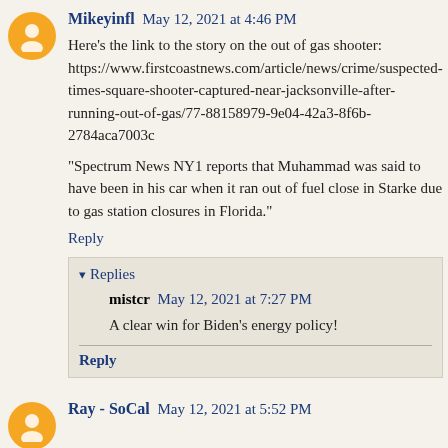Mikeyinfl May 12, 2021 at 4:46 PM
Here's the link to the story on the out of gas shooter: https://www.firstcoastnews.com/article/news/crime/suspected-times-square-shooter-captured-near-jacksonville-after-running-out-of-gas/77-88158979-9e04-42a3-8f6b-2784aca7003c
"Spectrum News NY1 reports that Muhammad was said to have been in his car when it ran out of fuel close in Starke due to gas station closures in Florida."
Reply
Replies
mistcr May 12, 2021 at 7:27 PM
A clear win for Biden's energy policy!
Reply
Ray - SoCal May 12, 2021 at 5:52 PM